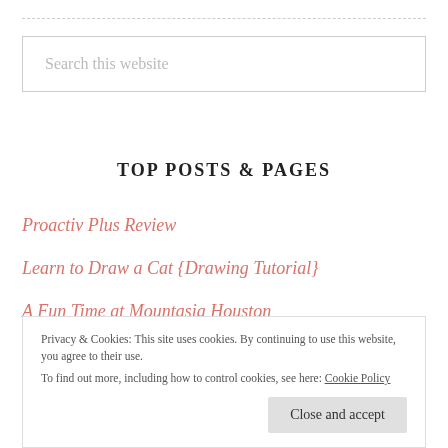[Figure (other): Search box with placeholder text 'Search this website']
TOP POSTS & PAGES
Proactiv Plus Review
Learn to Draw a Cat {Drawing Tutorial}
A Fun Time at Mountasia Houston
Privacy & Cookies: This site uses cookies. By continuing to use this website, you agree to their use.
To find out more, including how to control cookies, see here: Cookie Policy
Close and accept